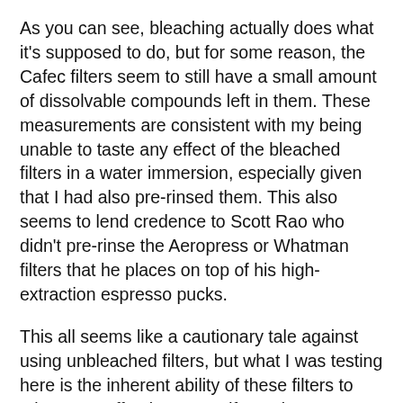As you can see, bleaching actually does what it’s supposed to do, but for some reason, the Cafec filters seem to still have a small amount of dissolvable compounds left in them. These measurements are consistent with my being unable to taste any effect of the bleached filters in a water immersion, especially given that I had also pre-rinsed them. This also seems to lend credence to Scott Rao who didn’t pre-rinse the Aeropress or Whatman filters that he places on top of his high-extraction espresso pucks.
This all seems like a cautionary tale against using unbleached filters, but what I was testing here is the inherent ability of these filters to taint your coffee beverage if you don’t pre-rinse them. As I mentioned before, tainting is not the only reason we pre-rinse pour over filters, and I don’t intend to say...